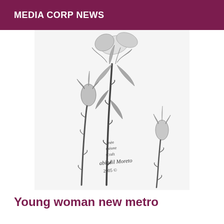MEDIA CORP NEWS
[Figure (illustration): Pencil sketch drawing of rose buds and stems with thorns, with a handwritten signature and date '2005' at the bottom left of the illustration]
Young woman new metro